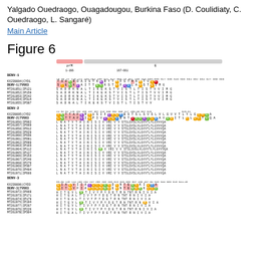Yalgado Ouedraogo, Ouagadougou, Burkina Faso (D. Coulidiaty, C. Ouedraogo, L. Sangaré)
Main Article
Figure 6
[Figure (other): Multiple sequence alignment figure showing amino acid positions for DENV-1, DENV-2, and DENV-3 serotypes. Sequences from KX239894|CYD1 (reference), DENV-1|TV003, and multiple MT261xxx isolates (IP121, IP159, IP242, IP314, IP387 for DENV-1; IP002, IP009, IP012, IP029, IP036, IP091, IP099, IP103, IP112, IP127, IP153, IP246, IP270, IP307, IP494, IP666 for DENV-2; IP008, IP171, IP179, IP194, IP267, IP226, IP304 for DENV-3). Colored boxes highlight variant amino acid positions. prM region spans positions 1-166, E region spans 167-661.]